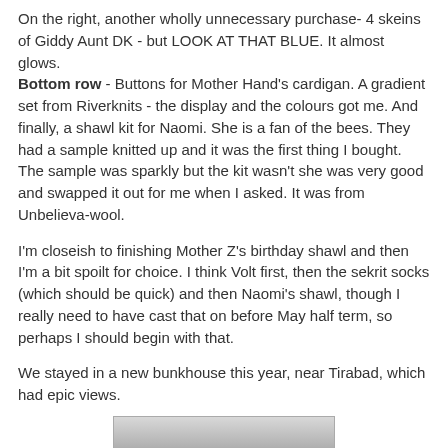On the right, another wholly unnecessary purchase- 4 skeins of Giddy Aunt DK - but LOOK AT THAT BLUE. It almost glows.
Bottom row - Buttons for Mother Hand's cardigan. A gradient set from Riverknits - the display and the colours got me. And finally, a shawl kit for Naomi. She is a fan of the bees. They had a sample knitted up and it was the first thing I bought. The sample was sparkly but the kit wasn't she was very good and swapped it out for me when I asked. It was from Unbelieva-wool.
I'm closeish to finishing Mother Z's birthday shawl and then I'm a bit spoilt for choice. I think Volt first, then the sekrit socks (which should be quick) and then Naomi's shawl, though I really need to have cast that on before May half term, so perhaps I should begin with that.
We stayed in a new bunkhouse this year, near Tirabad, which had epic views.
[Figure (photo): Grayscale landscape photograph showing a mountainous or hilly scene with trees or vegetation silhouetted at the bottom and a cloudy sky above.]